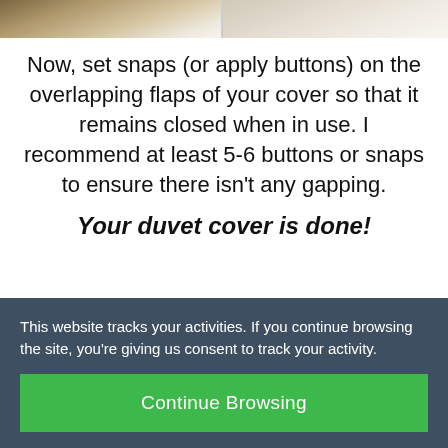[Figure (photo): Two cropped photos side by side showing fabric/duvet cover material, partial view at top of page]
Now, set snaps (or apply buttons) on the overlapping flaps of your cover so that it remains closed when in use. I recommend at least 5-6 buttons or snaps to ensure there isn't any gapping.
Your duvet cover is done!
This website tracks your activities. If you continue browsing the site, you're giving us consent to track your activity.
Continue Browsing